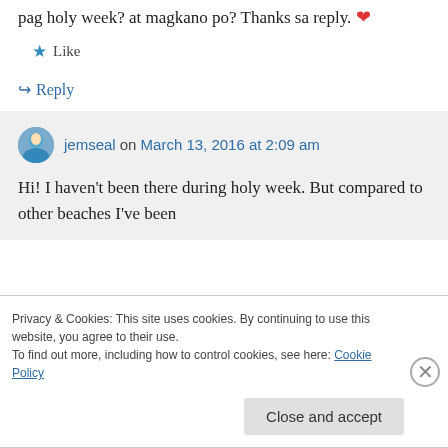pag holy week? at magkano po? Thanks sa reply. ❤
★ Like
↪ Reply
jemseal on March 13, 2016 at 2:09 am
Hi! I haven't been there during holy week. But compared to other beaches I've been
Privacy & Cookies: This site uses cookies. By continuing to use this website, you agree to their use. To find out more, including how to control cookies, see here: Cookie Policy
Close and accept